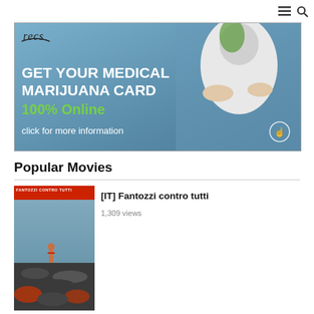≡ 🔍
[Figure (photo): Advertisement banner for medical marijuana card service with doctor in white coat, cannabis plant, text 'GET YOUR MEDICAL MARIJUANA CARD 100% Online click for more information', recs logo in top left]
Popular Movies
[Figure (photo): Movie poster thumbnail for Fantozzi contro tutti showing a man standing on debris/rubble]
[IT] Fantozzi contro tutti
1,309 views